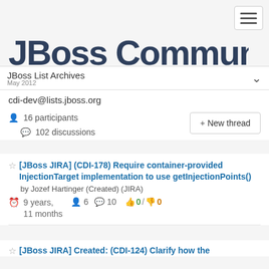[Figure (logo): JBoss Community logo in dark navy text, large bold sans-serif font]
JBoss List Archives — May 2012
cdi-dev@lists.jboss.org
16 participants
102 discussions
[JBoss JIRA] (CDI-178) Require container-provided InjectionTarget implementation to use getInjectionPoints()
by Jozef Hartinger (Created) (JIRA)
9 years, 11 months  6  10  0 / 0
[JBoss JIRA] Created: (CDI-124) Clarify how the...